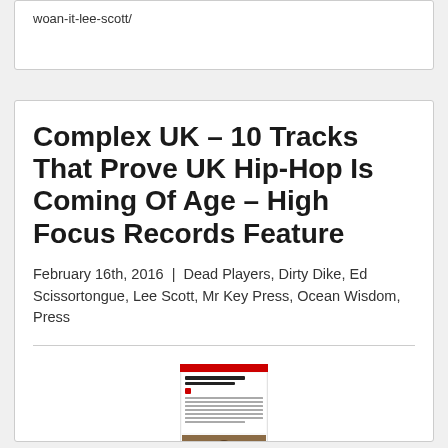woan-it-lee-scott/
Complex UK – 10 Tracks That Prove UK Hip-Hop Is Coming Of Age – High Focus Records Feature
February 16th, 2016  |  Dead Players, Dirty Dike, Ed Scissortongue, Lee Scott, Mr Key Press, Ocean Wisdom, Press
[Figure (screenshot): Screenshot of a Complex UK article webpage showing a list article about UK Hip-Hop tracks with a thumbnail image of a person]